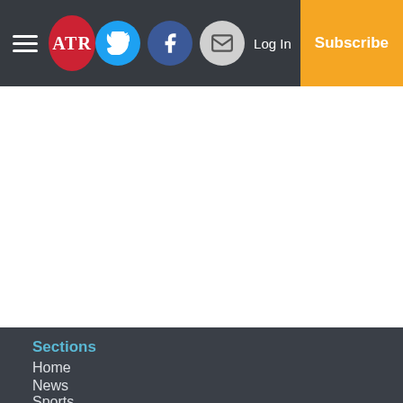ATR | Log In | Subscribe
Sections
Home
News
Sports
Opinion
Obits
Lifestyles
Religion
Classifieds